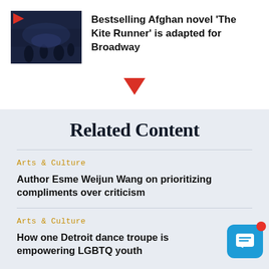[Figure (photo): Thumbnail image of a dark stage scene with figures, with a red play triangle icon overlay in top-left corner]
Bestselling Afghan novel 'The Kite Runner' is adapted for Broadway
Related Content
Arts & Culture
Author Esme Weijun Wang on prioritizing compliments over criticism
Arts & Culture
How one Detroit dance troupe is empowering LGBTQ youth